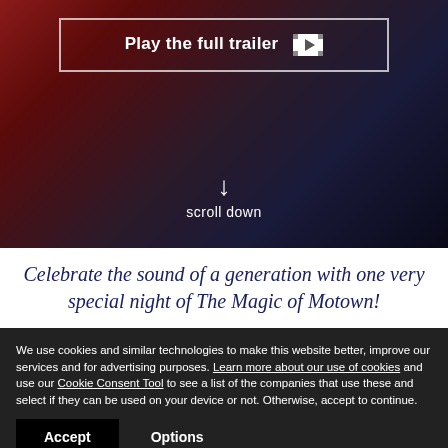[Figure (screenshot): Hero background image showing colorful carnival/concert scene with dark overlay. A white-bordered rectangular button reads 'Play the full trailer' with a film play icon. Below is a downward arrow and 'scroll down' text in white.]
Celebrate the sound of a generation with one very special night of The Magic of Motown!
We use cookies and similar technologies to make this website better, improve our services and for advertising purposes. Learn more about our use of cookies and use our Cookie Consent Tool to see a list of the companies that use these and select if they can be used on your device or not. Otherwise, accept to continue.
Accept | Options